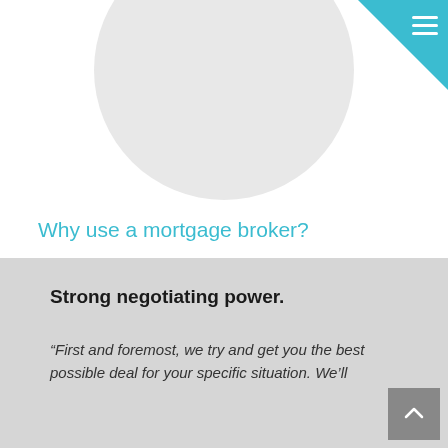[Figure (photo): Circular profile photo placeholder (light gray circle), partially cropped at the top of the page]
Why use a mortgage broker?
Mark Edlund, Managing Director of Clarity Home Loans, breaks down the biggest advantages of working with a mortgage broker.
Strong negotiating power.
“First and foremost, we try and get you the best possible deal for your specific situation. We’ll